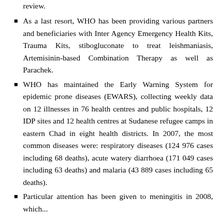review.
As a last resort, WHO has been providing various partners and beneficiaries with Inter Agency Emergency Health Kits, Trauma Kits, stibogluconate to treat leishmaniasis, Artemisinin-based Combination Therapy as well as Parachek.
WHO has maintained the Early Warning System for epidemic prone diseases (EWARS), collecting weekly data on 12 illnesses in 76 health centres and public hospitals, 12 IDP sites and 12 health centres at Sudanese refugee camps in eastern Chad in eight health districts. In 2007, the most common diseases were: respiratory diseases (124 976 cases including 68 deaths), acute watery diarrhoea (171 049 cases including 63 deaths) and malaria (43 889 cases including 65 deaths).
Particular attention has been given to meningitis in 2008, which...